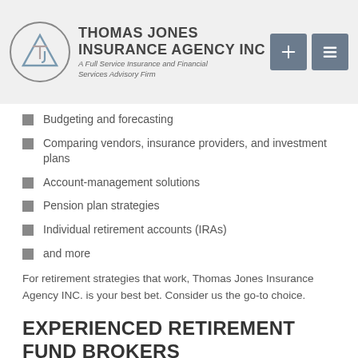THOMAS JONES INSURANCE AGENCY INC — A Full Service Insurance and Financial Services Advisory Firm
Budgeting and forecasting
Comparing vendors, insurance providers, and investment plans
Account-management solutions
Pension plan strategies
Individual retirement accounts (IRAs)
and more
For retirement strategies that work, Thomas Jones Insurance Agency INC. is your best bet. Consider us the go-to choice.
EXPERIENCED RETIREMENT FUND BROKERS
We are a licensed, certified, and qualified insurance company with years of experience and an impeccable track record. Over the years, we've built a trustworthy reputation as a compassionate service provider- one driven by honesty, compassion, and integrity. Clients near and far